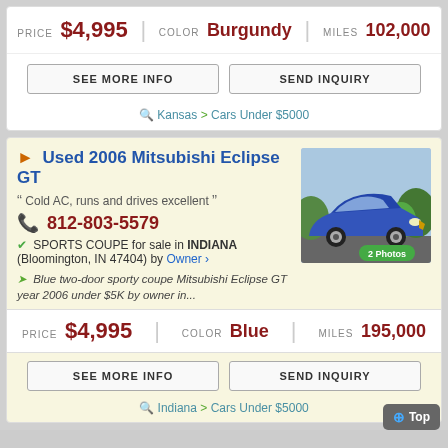PRICE $4,995 | COLOR Burgundy | MILES 102,000
SEE MORE INFO | SEND INQUIRY
Kansas > Cars Under $5000
Used 2006 Mitsubishi Eclipse GT
Cold AC, runs and drives excellent
812-803-5579
SPORTS COUPE for sale in INDIANA (Bloomington, IN 47404) by Owner
Blue two-door sporty coupe Mitsubishi Eclipse GT year 2006 under $5K by owner in...
[Figure (photo): Blue 2006 Mitsubishi Eclipse GT sports coupe, front 3/4 view, 2 Photos badge]
PRICE $4,995 | COLOR Blue | MILES 195,000
SEE MORE INFO | SEND INQUIRY
Indiana > Cars Under $5000